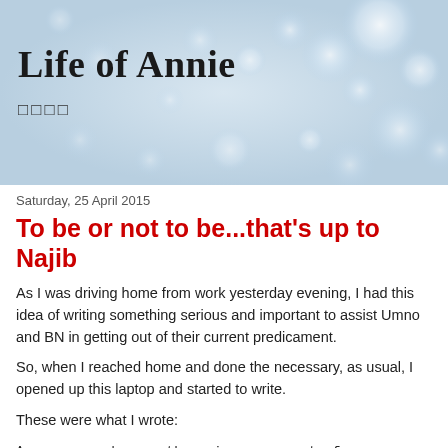[Figure (photo): Blurred bokeh light background banner for blog header]
Life of Annie
□□□□
Saturday, 25 April 2015
To be or not to be...that's up to Najib
As I was driving home from work yesterday evening, I had this idea of writing something serious and important to assist Umno and BN in getting out of their current predicament.
So, when I reached home and done the necessary, as usual, I opened up this laptop and started to write.
These were what I wrote:
As everyone knows, there is now a sort of "rebellion" among a segment of the pro-establishment press into PM DS Najib...